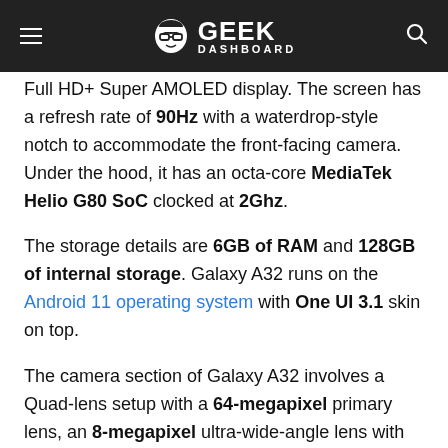GEEK DASHBOARD
Full HD+ Super AMOLED display. The screen has a refresh rate of 90Hz with a waterdrop-style notch to accommodate the front-facing camera. Under the hood, it has an octa-core MediaTek Helio G80 SoC clocked at 2Ghz.
The storage details are 6GB of RAM and 128GB of internal storage. Galaxy A32 runs on the Android 11 operating system with One UI 3.1 skin on top.
The camera section of Galaxy A32 involves a Quad-lens setup with a 64-megapixel primary lens, an 8-megapixel ultra-wide-angle lens with